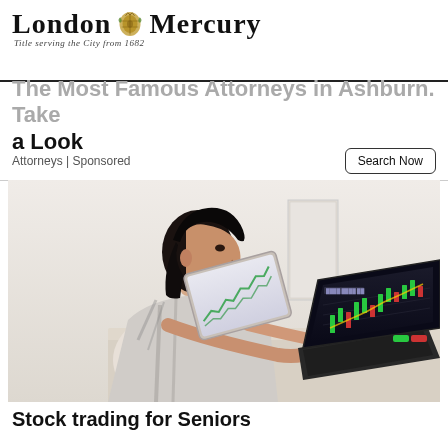London Mercury — Title serving the City from 1682
The Most Famous Attorneys in Ashburn. Take a Look
Attorneys | Sponsored
[Figure (photo): Woman sitting at a desk looking at a laptop with stock trading charts on screen; a tablet also shows a chart in the background; a small plant is visible on the right]
Stock trading for Seniors